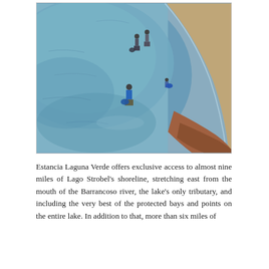[Figure (photo): Aerial view of fishermen wading in Lago Strobel, a large blue lake with a curved sandy shoreline. The water is a steel-blue color and the shore is pale sandy/rocky. Several figures in fishing gear are visible wading in the shallow water near the curved bank.]
Estancia Laguna Verde offers exclusive access to almost nine miles of Lago Strobel's shoreline, stretching east from the mouth of the Barrancoso river, the lake's only tributary, and including the very best of the protected bays and points on the entire lake. In addition to that, more than six miles of